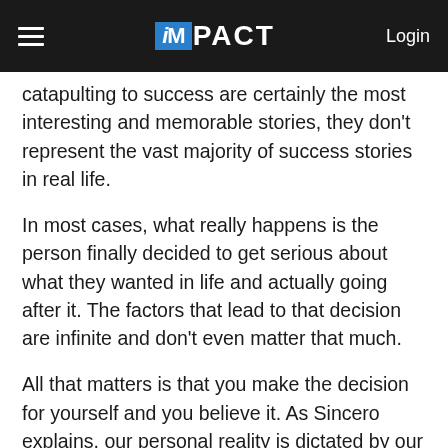iMPACT — Login
catapulting to success are certainly the most interesting and memorable stories, they don't represent the vast majority of success stories in real life.
In most cases, what really happens is the person finally decided to get serious about what they wanted in life and actually going after it. The factors that lead to that decision are infinite and don't even matter that much.
All that matters is that you make the decision for yourself and you believe it. As Sincero explains, our personal reality is dictated by our thoughts and beliefs.